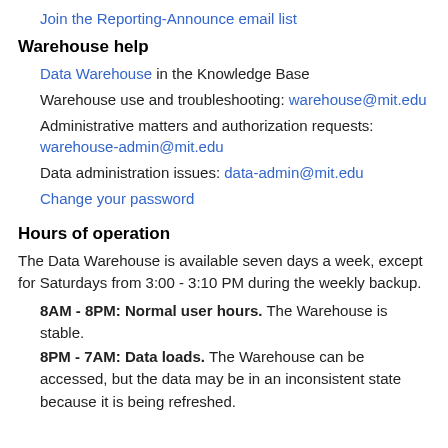Join the Reporting-Announce email list
Warehouse help
Data Warehouse in the Knowledge Base
Warehouse use and troubleshooting: warehouse@mit.edu
Administrative matters and authorization requests: warehouse-admin@mit.edu
Data administration issues: data-admin@mit.edu
Change your password
Hours of operation
The Data Warehouse is available seven days a week, except for Saturdays from 3:00 - 3:10 PM during the weekly backup.
8AM - 8PM: Normal user hours. The Warehouse is stable.
8PM - 7AM: Data loads. The Warehouse can be accessed, but the data may be in an inconsistent state because it is being refreshed.